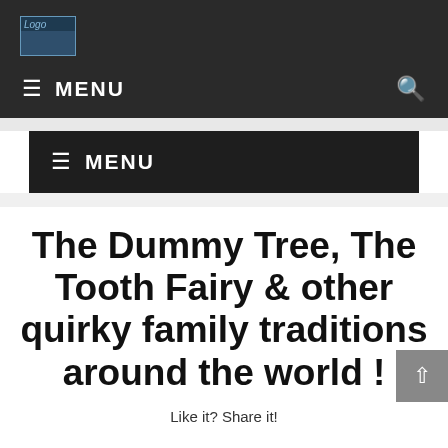[Figure (logo): Broken image placeholder labeled Logo in top left of dark header]
≡ MENU 🔍
≡ MENU
The Dummy Tree, The Tooth Fairy & other quirky family traditions around the world !
Like it? Share it!